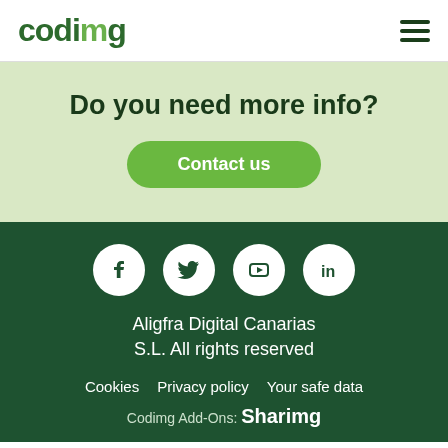codimg
Do you need more info?
Contact us
[Figure (illustration): Social media icons: Facebook, Twitter, YouTube, LinkedIn in white circles on dark green background]
Aligfra Digital Canarias S.L. All rights reserved
Cookies   Privacy policy   Your safe data   Codimg Add-Ons: Sharimg